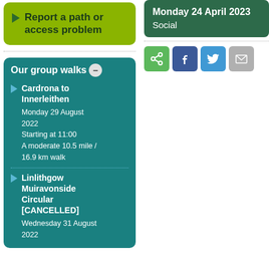Report a path or access problem
Monday 24 April 2023
Social
[Figure (infographic): Social sharing icons: share (green), Facebook (blue), Twitter (light blue), email (grey)]
Our group walks
Cardrona to Innerleithen
Monday 29 August 2022
Starting at 11:00
A moderate 10.5 mile / 16.9 km walk
Linlithgow Muiravonside Circular [CANCELLED]
Wednesday 31 August 2022